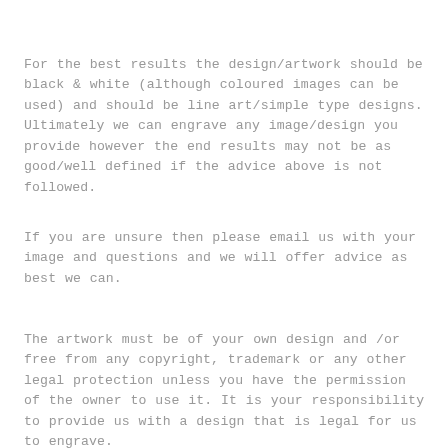For the best results the design/artwork should be black & white (although coloured images can be used) and should be line art/simple type designs. Ultimately we can engrave any image/design you provide however the end results may not be as good/well defined if the advice above is not followed.
If you are unsure then please email us with your image and questions and we will offer advice as best we can.
The artwork must be of your own design and /or free from any copyright, trademark or any other legal protection unless you have the permission of the owner to use it. It is your responsibility to provide us with a design that is legal for us to engrave.